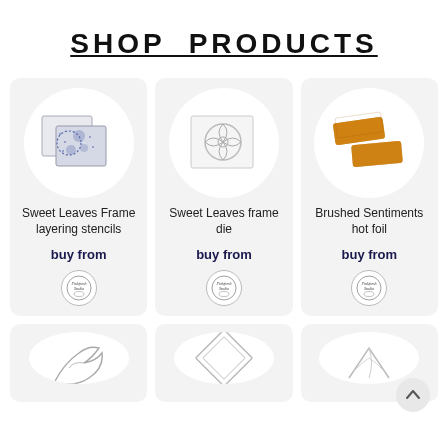SHOP PRODUCTS
[Figure (photo): Sweet Leaves Frame layering stencils product image]
Sweet Leaves Frame layering stencils
buy from
[Figure (logo): Pinkfresh Studio logo]
[Figure (photo): Sweet Leaves frame die product image]
Sweet Leaves frame die
buy from
[Figure (logo): Pinkfresh Studio logo]
[Figure (photo): Brushed Sentiments hot foil product image]
Brushed Sentiments hot foil
buy from
[Figure (logo): Pinkfresh Studio logo]
[Figure (photo): Bottom row product 1 image (partial)]
[Figure (photo): Bottom row product 2 image (partial)]
[Figure (photo): Bottom row product 3 image (partial)]